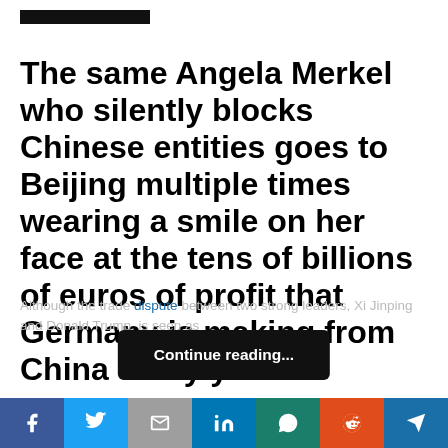The same Angela Merkel who silently blocks Chinese entities goes to Beijing multiple times wearing a smile on her face at the tens of billions of euros of profit that Germany is making from China every year
Although the trade dispute between two strong leaders, Xi Jinping and Donald Trump, is seen as
Continue reading...
This website uses cookies. Accept
Social share bar: Facebook, Twitter, Gmail, LinkedIn, WhatsApp, Reddit, Send